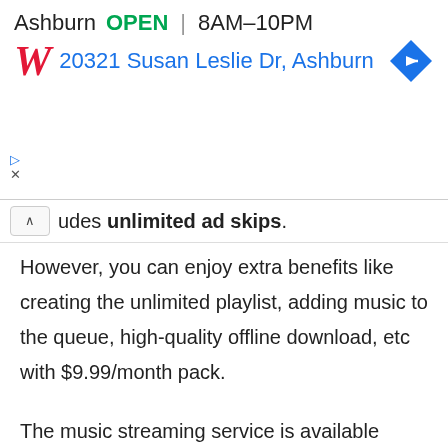[Figure (screenshot): Walgreens advertisement banner showing location: Ashburn OPEN 8AM-10PM, 20321 Susan Leslie Dr, Ashburn, with Walgreens logo and navigation arrow icon]
udes unlimited ad skips.
However, you can enjoy extra benefits like creating the unlimited playlist, adding music to the queue, high-quality offline download, etc with $9.99/month pack.
The music streaming service is available across all major platforms with synchronization including web, android, iOS and windows. With over 40